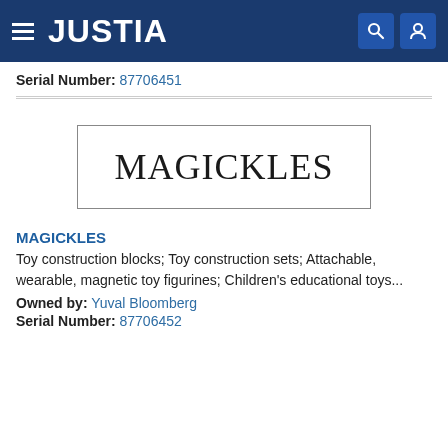JUSTIA
Serial Number: 87706451
[Figure (other): Trademark logo image: a rectangle border containing the word MAGICKLES in serif font]
MAGICKLES
Toy construction blocks; Toy construction sets; Attachable, wearable, magnetic toy figurines; Children's educational toys...
Owned by: Yuval Bloomberg
Serial Number: 87706452